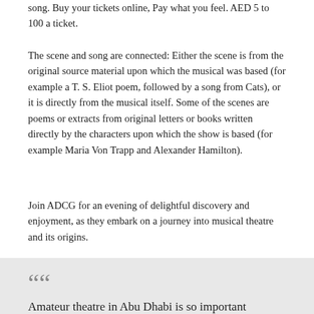song. Buy your tickets online, Pay what you feel. AED 5 to 100 a ticket.
The scene and song are connected: Either the scene is from the original source material upon which the musical was based (for example a T. S. Eliot poem, followed by a song from Cats), or it is directly from the musical itself. Some of the scenes are poems or extracts from original letters or books written directly by the characters upon which the show is based (for example Maria Von Trapp and Alexander Hamilton).
Join ADCG for an evening of delightful discovery and enjoyment, as they embark on a journey into musical theatre and its origins.
“Amateur theatre in Abu Dhabi is so important because it creates that sense of community - Sacha
ADCG is the longest running amateur music group in the UAE,